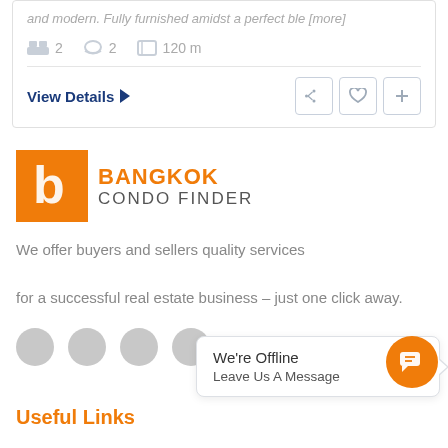and modern. Fully furnished amidst a perfect ble [more]
2  2  120 m
View Details ▶
[Figure (logo): Bangkok Condo Finder logo with orange square icon and text]
We offer buyers and sellers quality services for a successful real estate business – just one click away.
[Figure (infographic): Four gray circle social media icon placeholders]
We're Offline
Leave Us A Message
Useful Links